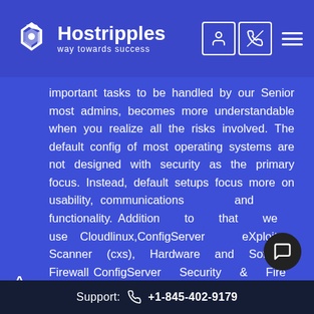Hostripples — way towards success
important tasks to be handled by our Senior most admins, becomes more understandable when you realize all the risks involved. The default config of most operating systems are not designed with security as the primary focus. Instead, default setups focus more on usability, communications and functionality. Addition to that we use Cloudlinux,ConfigServer eXploit Scanner (cxs), Hardware and Software Firewall ConfigServer Security & Fire (csf),Maldet,ClamAV,ModSecurity etc.
Support: +1-845-402-9179